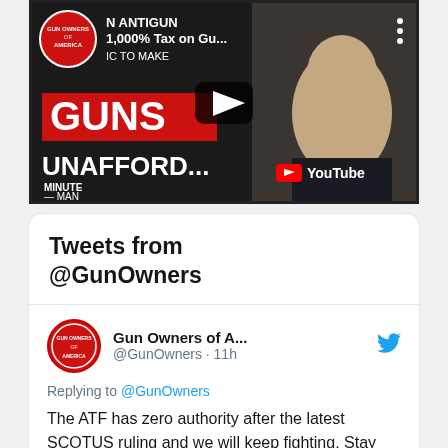[Figure (screenshot): YouTube video thumbnail showing 'N ANTIGUN 1,000% Tax on Gu...' with text GUNS UNAFFORD... and a man's face on the right, with play button and YouTube logo overlay. Gun Owners of America logo in top left.]
Tweets from @GunOwners
[Figure (screenshot): Tweet from Gun Owners of America (@GunOwners) posted 11h ago. Replying to @GunOwners. Text: The ATF has zero authority after the latest SCOTUS ruling and we will keep fighting. Stay tuned for updates on our latest lawsuit against the ATF. Link: gunowners.org/wp-content/upl]